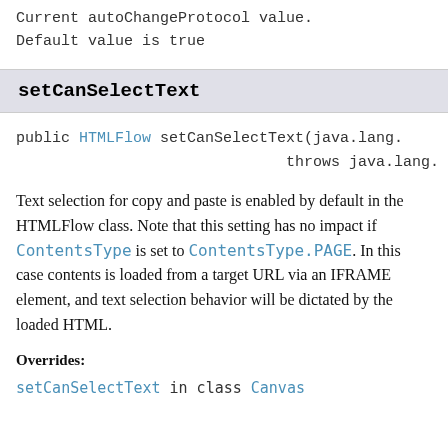Current autoChangeProtocol value.
Default value is true
setCanSelectText
public HTMLFlow setCanSelectText(java.lang.
                              throws java.lang.
Text selection for copy and paste is enabled by default in the HTMLFlow class. Note that this setting has no impact if ContentsType is set to ContentsType.PAGE. In this case contents is loaded from a target URL via an IFRAME element, and text selection behavior will be dictated by the loaded HTML.
Overrides:
setCanSelectText in class Canvas